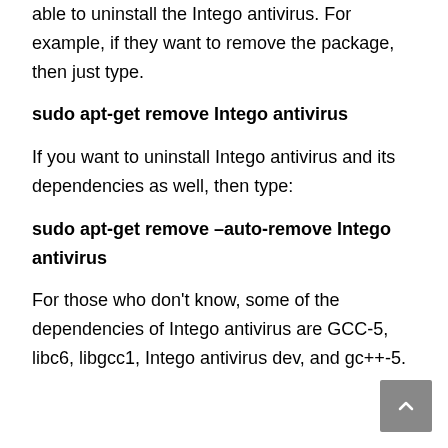able to uninstall the Intego antivirus. For example, if they want to remove the package, then just type.
sudo apt-get remove Intego antivirus
If you want to uninstall Intego antivirus and its dependencies as well, then type:
sudo apt-get remove –auto-remove Intego antivirus
For those who don't know, some of the dependencies of Intego antivirus are GCC-5, libc6, libgcc1, Intego antivirus dev, and gc++-5.